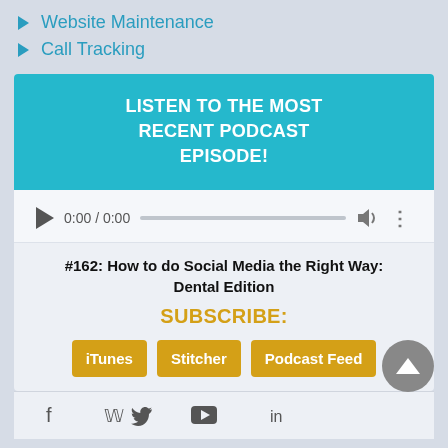Website Maintenance
Call Tracking
LISTEN TO THE MOST RECENT PODCAST EPISODE!
[Figure (other): Audio player widget showing 0:00 / 0:00 with play button, progress bar, volume and options icons]
#162: How to do Social Media the Right Way: Dental Edition
SUBSCRIBE:
iTunes  Stitcher  Podcast Feed
[Figure (other): Social media icons: Facebook, Twitter, YouTube, LinkedIn]